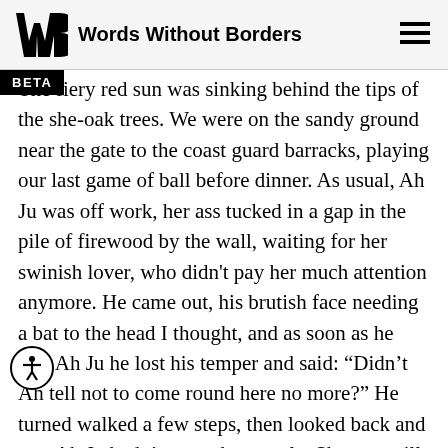Words Without Borders
The fiery red sun was sinking behind the tips of the she-oak trees. We were on the sandy ground near the gate to the coast guard barracks, playing our last game of ball before dinner. As usual, Ah Ju was off work, her ass tucked in a gap in the pile of firewood by the wall, waiting for her swinish lover, who didn't pay her much attention anymore. He came out, his brutish face needing a bat to the head I thought, and as soon as he saw Ah Ju he lost his temper and said: “Didn’t Ah tell not to come round here no more?” He turned walked a few steps, then looked back and saw Ah Ju hadn’t moved a muscle. She was still looking